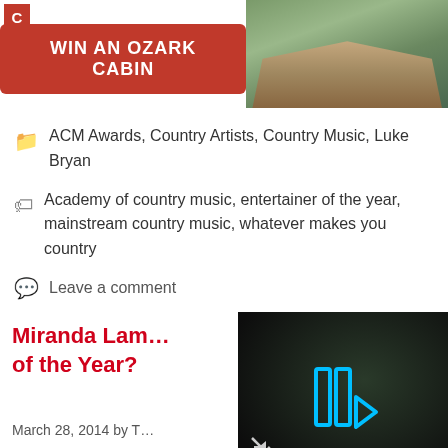[Figure (photo): Banner advertisement: 'WIN AN OZARK CABIN' in white text on red button, with cabin/lodge building image on right side, on dark background]
ACM Awards, Country Artists, Country Music, Luke Bryan
Academy of country music, entertainer of the year, mainstream country music, whatever makes you country
Leave a comment
Miranda Lam… of the Year?
March 28, 2014 by T…
[Figure (screenshot): Video player thumbnail showing dark background with blue play/pause icon controls and mute icon]